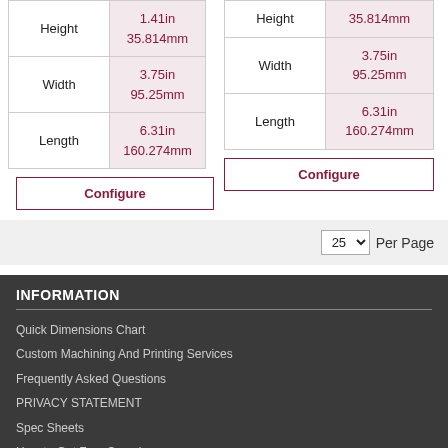|  |  |
| --- | --- |
| Height | 1.41in
35.814mm |
| Width | 3.75in
95.25mm |
| Length | 6.31in
160.274mm |
|  |  |
| --- | --- |
| Height | 35.814mm |
| Width | 3.75in
95.25mm |
| Length | 6.31in
160.274mm |
Configure
Configure
25  Per Page
INFORMATION
Quick Dimensions Chart
Custom Machining And Printing Services
Frequently Asked Questions
PRIVACY STATEMENT
Spec Sheets
How to Get Free Samples
Encloures by Model Number
Videos